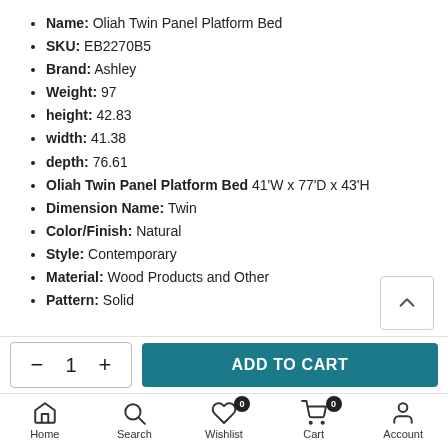Name: Oliah Twin Panel Platform Bed
SKU: EB2270B5
Brand: Ashley
Weight: 97
height: 42.83
width: 41.38
depth: 76.61
Oliah Twin Panel Platform Bed 41'W x 77'D x 43'H
Dimension Name: Twin
Color/Finish: Natural
Style: Contemporary
Material: Wood Products and Other
Pattern: Solid